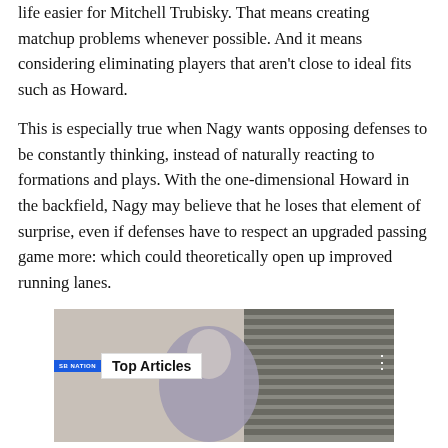life easier for Mitchell Trubisky. That means creating matchup problems whenever possible. And it means considering eliminating players that aren't close to ideal fits such as Howard.
This is especially true when Nagy wants opposing defenses to be constantly thinking, instead of naturally reacting to formations and plays. With the one-dimensional Howard in the backfield, Nagy may believe that he loses that element of surprise, even if defenses have to respect an upgraded passing game more: which could theoretically open up improved running lanes.
[Figure (screenshot): Video player thumbnail showing a person against a window with blinds, with a 'Top Articles' overlay bar featuring the SB Nation logo and a three-dot menu icon.]